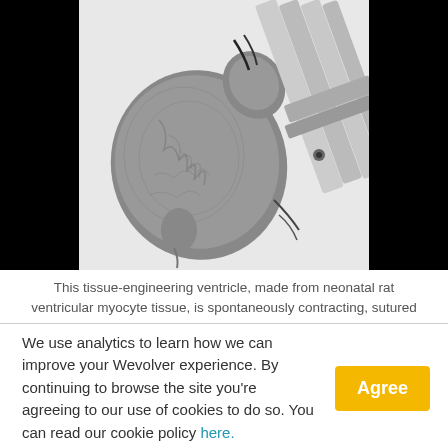[Figure (photo): Black and white photograph of a tissue-engineering ventricle made from neonatal rat ventricular myocyte tissue, shown being sutured with a medical instrument. The heart-shaped tissue is visible in the center with suture needles and an instrument visible at right.]
This tissue-engineering ventricle, made from neonatal rat ventricular myocyte tissue, is spontaneously contracting, sutured
We use analytics to learn how we can improve your Wevolver experience. By continuing to browse the site you're agreeing to our use of cookies to do so. You can read our cookie policy here.